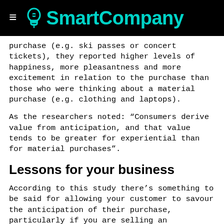SmartCompany
purchase (e.g. ski passes or concert tickets), they reported higher levels of happiness, more pleasantness and more excitement in relation to the purchase than those who were thinking about a material purchase (e.g. clothing and laptops).
As the researchers noted: “Consumers derive value from anticipation, and that value tends to be greater for experiential than for material purchases”.
Lessons for your business
According to this study there’s something to be said for allowing your customer to savour the anticipation of their purchase, particularly if you are selling an experience.
But think about how you do it.